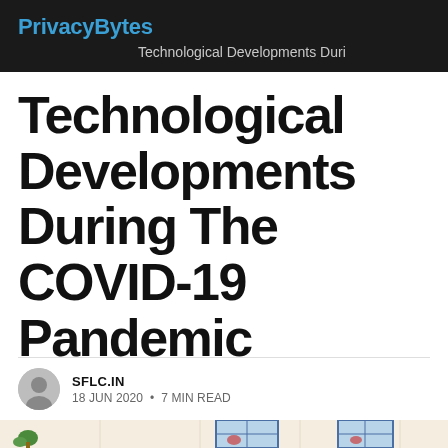PrivacyBytes — Technological Developments Duri
Technological Developments During The COVID-19 Pandemic
SFLC.IN
18 JUN 2020 • 7 MIN READ
[Figure (illustration): Partial illustration showing a pandemic/technology themed graphic with building windows and a plant on a beige/cream background, cropped at the bottom of the page.]